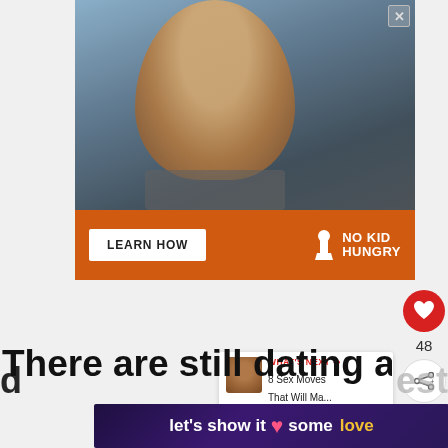[Figure (photo): Advertisement for No Kid Hungry showing a young child in a classroom with text 'You can help hungry kids.' and an orange banner with 'LEARN HOW' button and 'NO KID HUNGRY' logo with a close button (X) in top right corner.]
48
[Figure (infographic): What's Next promo showing '8 Sex Moves That Will Ma...' with thumbnail image]
There are still dating app-
[Figure (infographic): Bottom banner ad reading "let's show it some love" with pink heart icon on dark purple/gradient background]